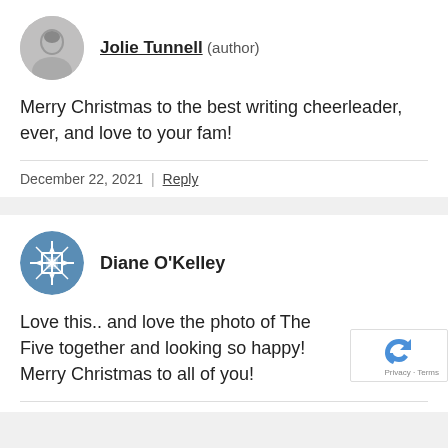[Figure (photo): Circular avatar photo of Jolie Tunnell, a woman with dark hair in grayscale]
Jolie Tunnell (author)
Merry Christmas to the best writing cheerleader, ever, and love to your fam!
December 22, 2021 | Reply
[Figure (illustration): Circular avatar with blue geometric snowflake pattern for Diane O'Kelley]
Diane O'Kelley
Love this.. and love the photo of The Five together and looking so happy! Merry Christmas to all of you!